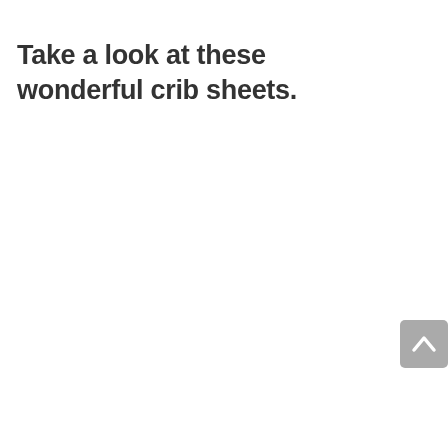Take a look at these wonderful crib sheets.
[Figure (other): A scroll-to-top button in the bottom-right corner, showing an upward chevron arrow on a grey rounded rectangle background.]